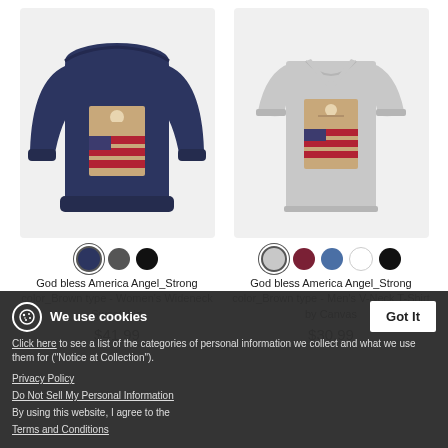[Figure (photo): Navy blue women's wide-neck sweatshirt with 'God bless America Angel_Strong color_Brown' graphic print]
[Figure (photo): Grey heather men's V-neck T-shirt with 'God bless America Angel_Strong color_Brown' graphic print]
God bless America Angel_Strong color_Brown type - Women's Wideneck Sweatshirt
$41.99
God bless America Angel_Strong color_Brown type - Men's V-Neck T-Shirt by Canvas
$30.99
We use cookies
Click here to see a list of the categories of personal information we collect and what we use them for ("Notice at Collection").
Privacy Policy
Do Not Sell My Personal Information
By using this website, I agree to the Terms and Conditions